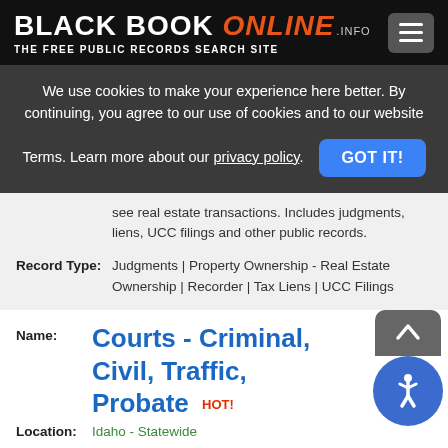BLACK BOOK ONLINE .INFO — THE FREE PUBLIC RECORDS SEARCH SITE
We use cookies to make your experience here better. By continuing, you agree to our use of cookies and to our website Terms. Learn more about our privacy policy.
see real estate transactions. Includes judgments, liens, UCC filings and other public records.
Record Type: Judgments | Property Ownership - Real Estate Ownership | Recorder | Tax Liens | UCC Filings
Name: Courts - Criminal, Civil, Traffic, Probate HOT!
Location: Idaho - Statewide